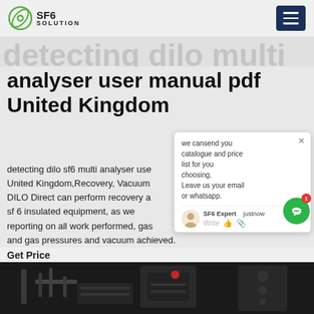SF6 SOLUTION
analyser user manual pdf United Kingdom
detecting dilo sf6 multi analyser user manual pdf United Kingdom,Recovery, Vacuum: DILO Direct can perform recovery and vacuum on your sf 6 insulated equipment, as well as service reporting on all work performed, gas volumes recovered, and gas pressures and vacuum achieved.
[Figure (screenshot): Chat popup widget showing message 'we cansend you catalogue and price list for you choosing. Leave us your email or whatsapp.' with SF6 Expert avatar and justnow timestamp]
Get Price
[Figure (photo): Dark industrial equipment photo showing SF6 gas handling machinery components]